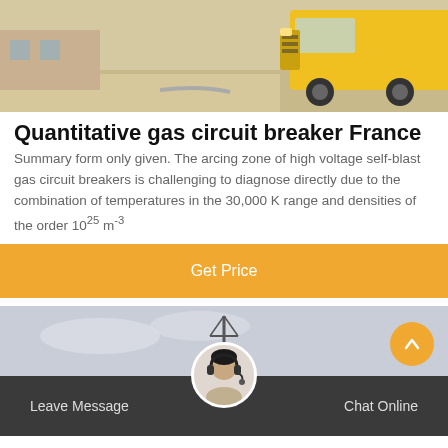[Figure (photo): Photo of yellow truck/vehicle at an outdoor facility, light concrete ground, green grass patch visible]
Quantitative gas circuit breaker France
Summary form only given. The arcing zone of high voltage self-blast gas circuit breakers is challenging to diagnose directly due to the combination of temperatures in the 30,000 K range and densities of the order 10<sup>25</sup> m<sup>-3</sup>
Get Price
[Figure (photo): Outdoor industrial scene with antenna/tower structure against a grey sky]
Leave Message | Chat Online